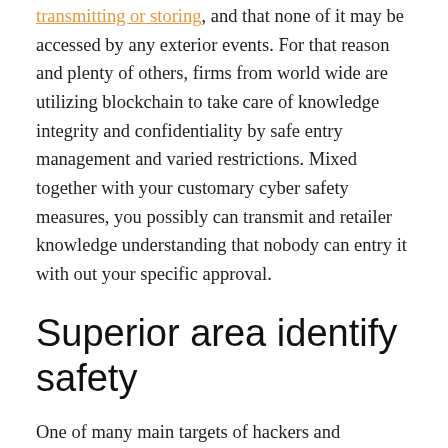transmitting or storing, and that none of it may be accessed by any exterior events. For that reason and plenty of others, firms from world wide are utilizing blockchain to take care of knowledge integrity and confidentiality by safe entry management and varied restrictions. Mixed together with your customary cyber safety measures, you possibly can transmit and retailer knowledge understanding that nobody can entry it with out your specific approval.
Superior area identify safety
One of many main targets of hackers and scammers is, in fact, your area identify system (DNS), just because breaking into DNS accounts permits them to fully disrupt an organization's on-line presence, and produce down their whole web site with ease. Not solely that, however hacking into an organization's